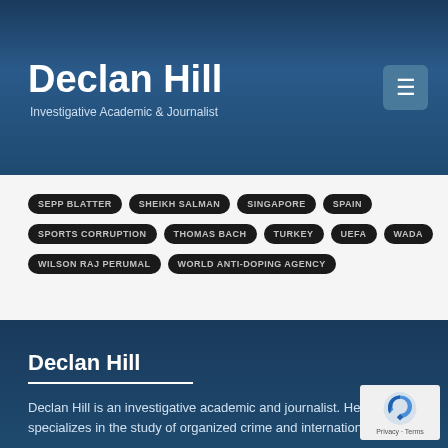Declan Hill – Investigative Academic & Journalist
SEPP BLATTER
SHEIKH SALMAN
SINGAPORE
SPAIN
SPORTS CORRUPTION
THOMAS BACH
TURKEY
UEFA
WADA
WILSON RAJ PERUMAL
WORLD ANTI-DOPING AGENCY
Declan Hill
Declan Hill is an investigative academic and journalist. He specializes in the study of organized crime and international issues.
Podcast